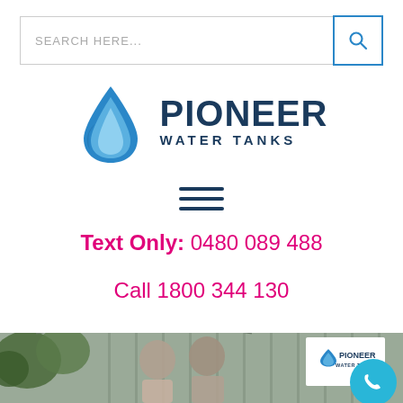[Figure (screenshot): Search bar with placeholder text 'SEARCH HERE...' and a blue search icon button on the right]
[Figure (logo): Pioneer Water Tanks logo with blue water droplet icon and dark navy text reading PIONEER WATER TANKS]
[Figure (infographic): Hamburger menu icon with three dark navy horizontal lines]
Text Only: 0480 089 488
Call 1800 344 130
[Figure (photo): Photo of two people standing in front of a large corrugated metal water tank with trees in background. A Pioneer Water Tanks sign/badge is visible on the tank. A blue phone button is in the bottom right corner.]